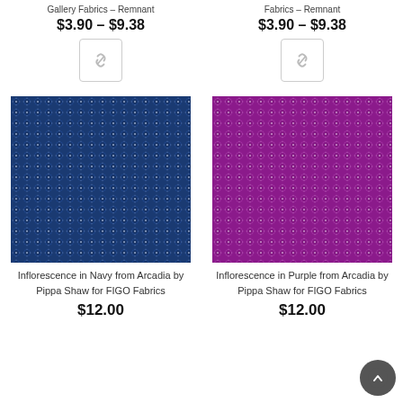Gallery Fabrics – Remnant
$3.90 – $9.38
Fabrics – Remnant
$3.90 – $9.38
[Figure (photo): Navy blue fabric with small white star/floral pattern — Inflorescence in Navy]
Inflorescence in Navy from Arcadia by Pippa Shaw for FIGO Fabrics
$12.00
[Figure (photo): Purple fabric with small white star/floral pattern — Inflorescence in Purple]
Inflorescence in Purple from Arcadia by Pippa Shaw for FIGO Fabrics
$12.00